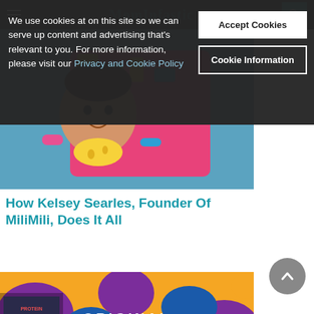MomInfastic (website header)
We use cookies at on this site so we can serve up content and advertising that's relevant to you. For more information, please visit our Privacy and Cookie Policy
[Figure (screenshot): Accept Cookies button (white background, dark text)]
[Figure (screenshot): Cookie Information button (white outline, white text)]
[Figure (photo): Photo of a baby/child and adult in colorful tropical print clothing]
How Kelsey Searles, Founder Of MiliMili, Does It All
[Figure (photo): Photo of Stryve brand product — original colorful camo pattern packaging with orange, purple, blue colors and white Stryve logo]
Airplane Snacks For Mom, Dad, Teen and Tot (And